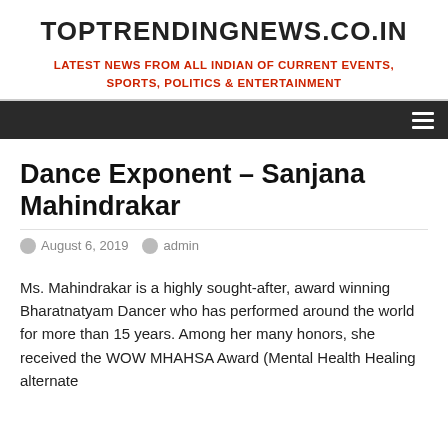TOPTRENDINGNEWS.CO.IN
LATEST NEWS FROM ALL INDIAN OF CURRENT EVENTS, SPORTS, POLITICS & ENTERTAINMENT
Dance Exponent – Sanjana Mahindrakar
August 6, 2019   admin
Ms. Mahindrakar is a highly sought-after, award winning Bharatnatyam Dancer who has performed around the world for more than 15 years. Among her many honors, she received the WOW MHAHSA Award (Mental Health Healing alternate